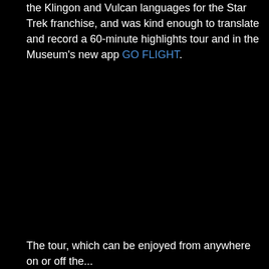the Klingon and Vulcan languages for the Star Trek franchise, and was kind enough to translate and record a 60-minute highlights tour and in the Museum's new app GO FLIGHT.
The tour, which can be enjoyed from anywhere on or off the...